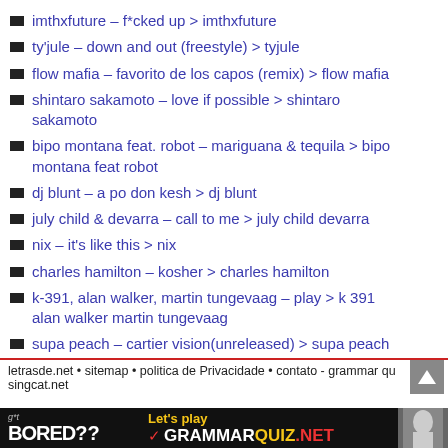imthxfuture – f*cked up  > imthxfuture
ty'jule – down and out (freestyle)  > tyjule
flow mafia – favorito de los capos (remix)  > flow mafia
shintaro sakamoto – love if possible  > shintaro sakamoto
bipo montana feat. robot – mariguana & tequila  > bipo montana feat robot
dj blunt – a po don kesh  > dj blunt
july child & devarra – call to me  > july child devarra
nix – it's like this  > nix
charles hamilton – kosher  > charles hamilton
k-391, alan walker, martin tungevaag – play  > k 391 alan walker martin tungevaag
supa peach – cartier vision(unreleased)  > supa peach
letrasde.net • sitemap • politica de Privacidade • contato - grammar qu
singcat.net